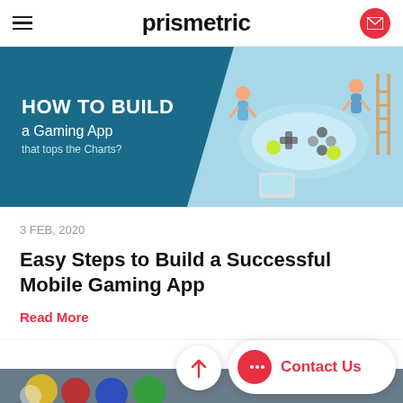prismetric
[Figure (illustration): Banner image showing 'HOW TO BUILD a Gaming App that tops the Charts?' with a gaming controller illustration on teal/blue background]
3 FEB, 2020
Easy Steps to Build a Successful Mobile Gaming App
Read More
[Figure (photo): Partial view of colorful billiard balls (yellow, red, blue, green) on a dark surface with Contact Us floating button overlay]